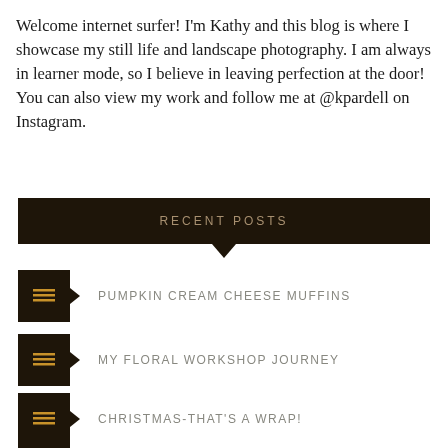Welcome internet surfer! I'm Kathy and this blog is where I showcase my still life and landscape photography. I am always in learner mode, so I believe in leaving perfection at the door! You can also view my work and follow me at @kpardell on Instagram.
RECENT POSTS
PUMPKIN CREAM CHEESE MUFFINS
MY FLORAL WORKSHOP JOURNEY
CHRISTMAS-THAT'S A WRAP!
TIME FOR TAGS